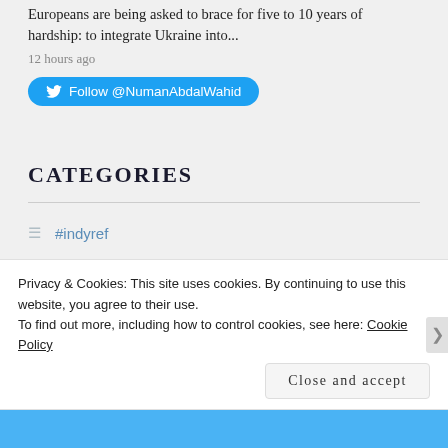Europeans are being asked to brace for five to 10 years of hardship: to integrate Ukraine into...
12 hours ago
Follow @NumanAbdalWahid
CATEGORIES
#indyref
9/11
Abd ar-Rubbuh Mansour Hadi
Privacy & Cookies: This site uses cookies. By continuing to use this website, you agree to their use.
To find out more, including how to control cookies, see here: Cookie Policy
Close and accept